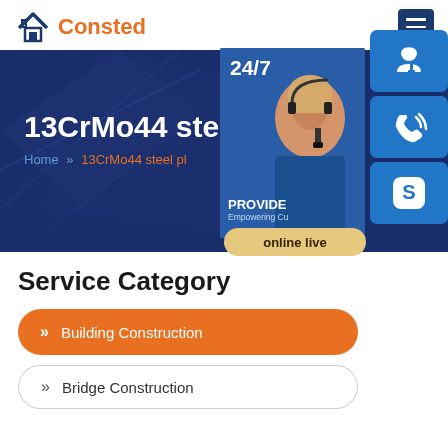Consted
[Figure (screenshot): Hero banner with dark blue background showing '13CrMo44 steel p' title and breadcrumb 'Home >> 13CrMo44 steel pl', with a side overlay showing a customer service representative, 24/7 text, contact icons (headset, phone, Skype), and 'online live' button]
Service Category
Building Construction
Bridge Construction